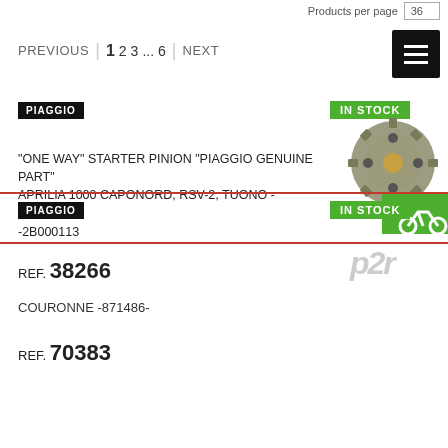Products per page  36
PREVIOUS  1  2  3  ...  6  NEXT
PIAGGIO
IN STOCK
[Figure (photo): Gear/sprocket component photo with green bicycle icon overlay]
"ONE WAY" STARTER PINION "PIAGGIO GENUINE PART" APRILIA 1000 CAPONORD, RSV-2, TUONO -AP0659110 -2B000113
REF. 38266
PIAGGIO
IN STOCK
[Figure (logo): P2R logo in gray]
COURONNE -871486-
REF. 70383